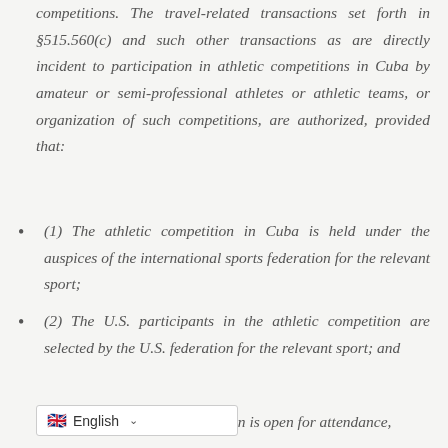competitions. The travel-related transactions set forth in §515.560(c) and such other transactions as are directly incident to participation in athletic competitions in Cuba by amateur or semi-professional athletes or athletic teams, or organization of such competitions, are authorized, provided that:
(1) The athletic competition in Cuba is held under the auspices of the international sports federation for the relevant sport;
(2) The U.S. participants in the athletic competition are selected by the U.S. federation for the relevant sport; and
on is open for attendance,